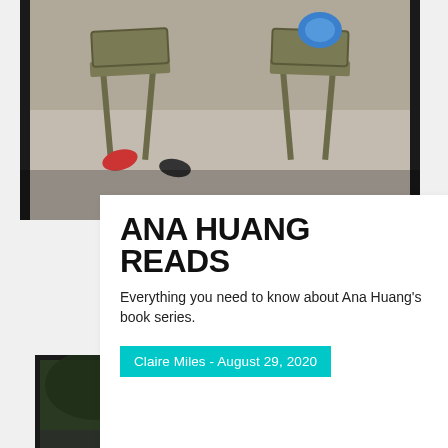[Figure (photo): Top photo showing chairs and people from overhead/angled view, partially visible]
ANA HUANG READS
Everything you need to know about Ana Huang's book series.
Claire Miles - August 29, 2020
[Figure (photo): Bottom photo showing a person with dark hair against a rainy window with bokeh background]